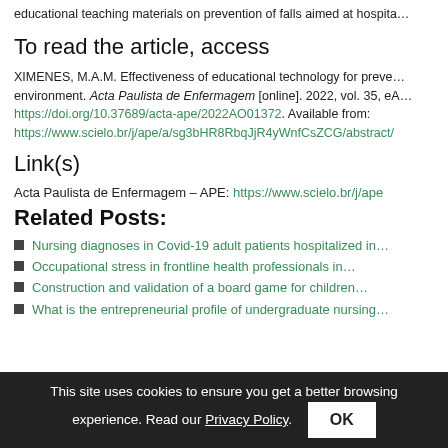educational teaching materials on prevention of falls aimed at hospita…
To read the article, access
XIMENES, M.A.M. Effectiveness of educational technology for prevention in hospital environment. Acta Paulista de Enfermagem [online]. 2022, vol. 35, eA… https://doi.org/10.37689/acta-ape/2022AO01372. Available from: https://www.scielo.br/j/ape/a/sg3bHR8RbqJjR4yWnfCsZCG/abstract/
Link(s)
Acta Paulista de Enfermagem – APE: https://www.scielo.br/j/ape
Related Posts:
Nursing diagnoses in Covid-19 adult patients hospitalized in…
Occupational stress in frontline health professionals in…
Construction and validation of a board game for children…
What is the entrepreneurial profile of undergraduate nursing…
This site uses cookies to ensure you get a better browsing experience. Read our Privacy Policy.  OK